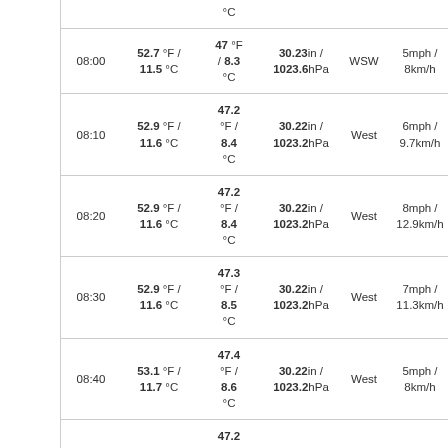| Time | Temp (°F/°C) | Dew Pt (°F/°C) | Pressure | Wind Dir | Wind Speed |  |
| --- | --- | --- | --- | --- | --- | --- |
|  |  | °C |  |  |  |  |
| 08:00 | 52.7 °F / 11.5 °C | 47 °F / 8.3 °C | 30.23in / 1023.6hPa | WSW | 5mph / 8km/h | 1 |
| 08:10 | 52.9 °F / 11.6 °C | 47.2 °F / 8.4 °C | 30.22in / 1023.2hPa | West | 6mph / 9.7km/h | 1 |
| 08:20 | 52.9 °F / 11.6 °C | 47.2 °F / 8.4 °C | 30.22in / 1023.2hPa | West | 8mph / 12.9km/h | 1 |
| 08:30 | 52.9 °F / 11.6 °C | 47.3 °F / 8.5 °C | 30.22in / 1023.2hPa | West | 7mph / 11.3km/h | 1 |
| 08:40 | 53.1 °F / 11.7 °C | 47.4 °F / 8.6 °C | 30.22in / 1023.2hPa | West | 5mph / 8km/h | 1 |
|  |  | 47.2 |  |  |  |  |